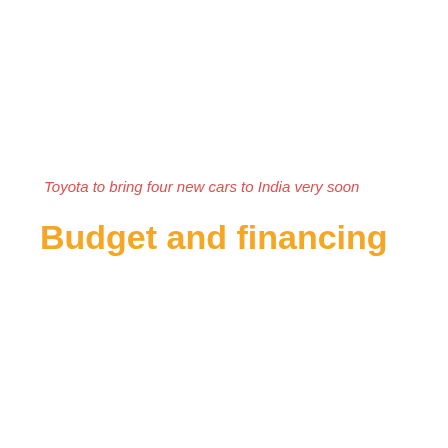Toyota to bring four new cars to India very soon
Budget and financing